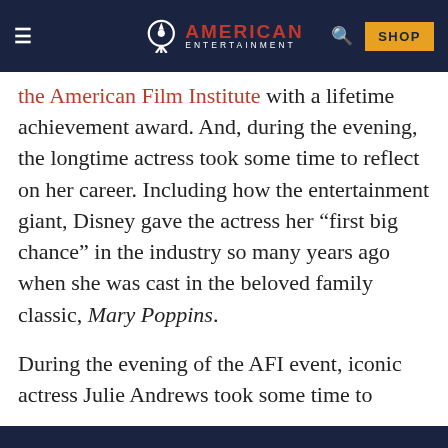American Entertainment — navigation bar with logo, search, and SHOP button
the American Film Institute with a lifetime achievement award. And, during the evening, the longtime actress took some time to reflect on her career. Including how the entertainment giant, Disney gave the actress her “first big chance” in the industry so many years ago when she was cast in the beloved family classic, Mary Poppins.
During the evening of the AFI event, iconic actress Julie Andrews took some time to